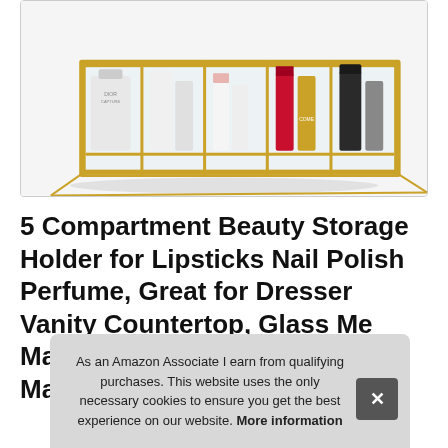[Figure (photo): Gold-framed glass makeup organizer with 5 compartments holding lipsticks, nail polishes, and perfume bottles on a white background]
5 Compartment Beauty Storage Holder for Lipsticks Nail Polish Perfume, Great for Dresser Vanity Countertop, Glass Me Ma Ma
As an Amazon Associate I earn from qualifying purchases. This website uses the only necessary cookies to ensure you get the best experience on our website. More information